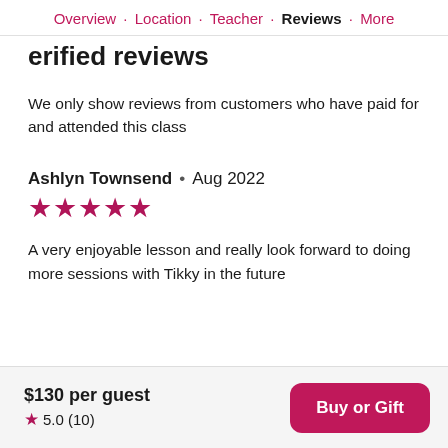Overview · Location · Teacher · Reviews · More
Verified reviews
We only show reviews from customers who have paid for and attended this class
Ashlyn Townsend • Aug 2022
★★★★★
A very enjoyable lesson and really look forward to doing more sessions with Tikky in the future
$130 per guest  ★ 5.0 (10)  Buy or Gift